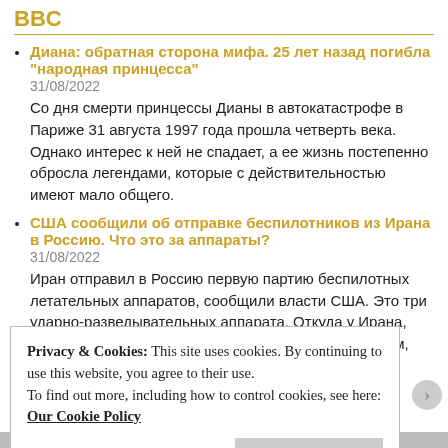BBC
Диана: обратная сторона мифа. 25 лет назад погибла "народная принцесса"
31/08/2022
Со дня смерти принцессы Дианы в автокатастрофе в Париже 31 августа 1997 года прошла четверть века. Однако интерес к ней не спадает, а ее жизнь постепенно обросла легендами, которые с действительностью имеют мало общего.
США сообщили об отправке беспилотников из Ирана в Россию. Что это за аппараты?
31/08/2022
Иран отправил в Россию первую партию беспилотных летательных аппаратов, сообщили власти США. Это три ударно-разведывательных аппарата. Откуда у Ирана, ограниченного в доступе к иностранным технологиям, такие БПЛА и что о них
Privacy & Cookies: This site uses cookies. By continuing to use this website, you agree to their use.
To find out more, including how to control cookies, see here: Our Cookie Policy